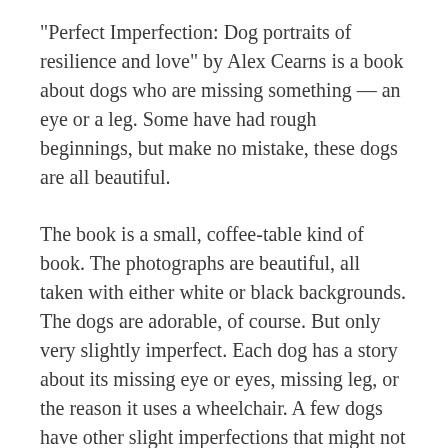“Perfect Imperfection: Dog portraits of resilience and love” by Alex Cearns is a book about dogs who are missing something — an eye or a leg. Some have had rough beginnings, but make no mistake, these dogs are all beautiful.
The book is a small, coffee-table kind of book. The photographs are beautiful, all taken with either white or black backgrounds. The dogs are adorable, of course. But only very slightly imperfect. Each dog has a story about its missing eye or eyes, missing leg, or the reason it uses a wheelchair. A few dogs have other slight imperfections that might not be visible to the eye.
It’s a wonderful book to show that just like people, animals come with different numbers of limbs and eyes and even ears. It doesn’t make them any less adorable or